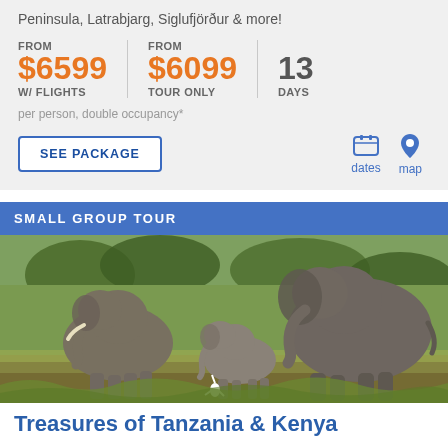Peninsula, Latrabjarg, Siglufjörður & more!
FROM $6599 W/ FLIGHTS | FROM $6099 TOUR ONLY | 13 DAYS
per person, double occupancy*
SEE PACKAGE
dates
map
SMALL GROUP TOUR
[Figure (photo): Three elephants (two adults and a baby) walking through green savanna grass with trees in background]
Treasures of Tanzania & Kenya